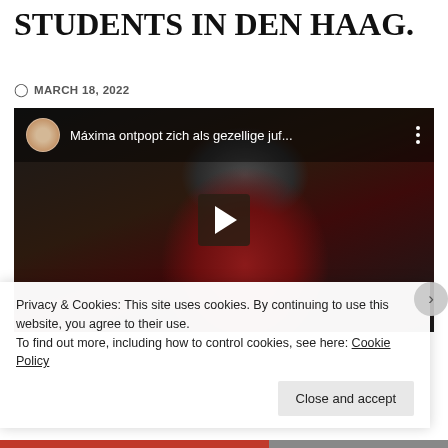STUDENTS IN DEN HAAG.
MARCH 18, 2022
[Figure (screenshot): YouTube video thumbnail showing a woman in a red dress smiling, with video overlay title 'Máxima ontpopt zich als gezellige juf...' and a play button in the center.]
Privacy & Cookies: This site uses cookies. By continuing to use this website, you agree to their use.
To find out more, including how to control cookies, see here: Cookie Policy
Close and accept